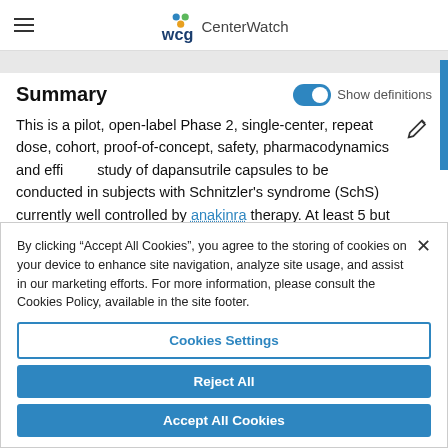WCG CenterWatch
Summary
This is a pilot, open-label Phase 2, single-center, repeat dose, cohort, proof-of-concept, safety, pharmacodynamics and efficacy study of dapansutrile capsules to be conducted in subjects with Schnitzler's syndrome (SchS) currently well controlled by anakinra therapy. At least 5 but no more than 10 subjects will be enrolled.
By clicking “Accept All Cookies”, you agree to the storing of cookies on your device to enhance site navigation, analyze site usage, and assist in our marketing efforts. For more information, please consult the Cookies Policy, available in the site footer.